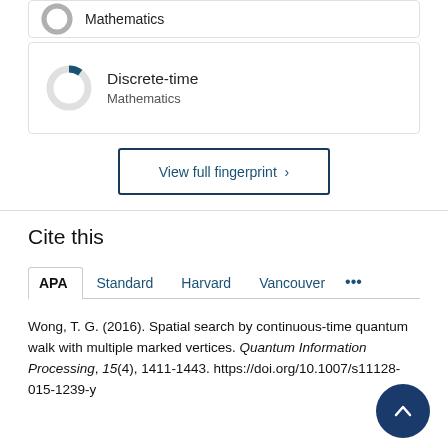[Figure (donut-chart): Small donut chart with gray fill, Mathematics label (partially visible at top)]
[Figure (donut-chart): Small donut chart with small blue slice (~10%), labeled Discrete-time, Mathematics]
View full fingerprint >
Cite this
APA | Standard | Harvard | Vancouver ...
Wong, T. G. (2016). Spatial search by continuous-time quantum walk with multiple marked vertices. Quantum Information Processing, 15(4), 1411-1443. https://doi.org/10.1007/s11128-015-1239-y